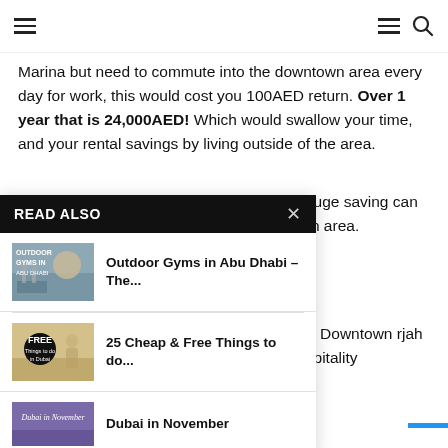Navigation bar with hamburger menu and search icon
Marina but need to commute into the downtown area every day for work, this would cost you 100AED return. Over 1 year that is 24,000AED! Which would swallow your time, and your rental savings by living outside of the area.
However, when it comes to purchasing, a huge saving can still be made by living outside the downtown area.
READ ALSO
[Figure (photo): Thumbnail image for Outdoor Gyms in Abu Dhabi article]
Outdoor Gyms in Abu Dhabi – The...
[Figure (photo): Thumbnail image for 25 Cheap & Free Things to do article]
25 Cheap & Free Things to do...
[Figure (photo): Thumbnail image for Dubai in November article]
Dubai in November
you are more than likely going a for work. The Downtown rjah (Industrial Area) are less you are in the hospitality